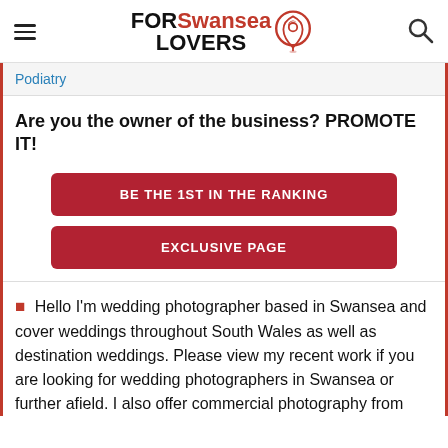FOR Swansea LOVERS
Podiatry
Are you the owner of the business? PROMOTE IT!
BE THE 1ST IN THE RANKING
EXCLUSIVE PAGE
Hello I'm wedding photographer based in Swansea and cover weddings throughout South Wales as well as destination weddings. Please view my recent work if you are looking for wedding photographers in Swansea or further afield. I also offer commercial photography from